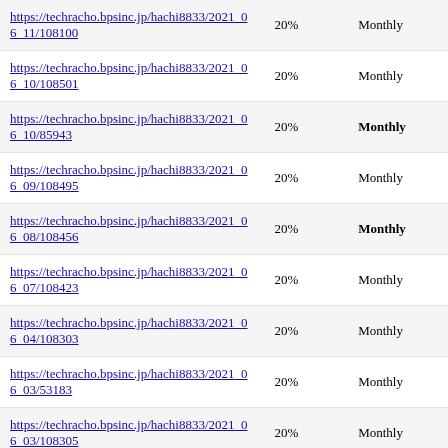| URL | Priority | Change Frequency |
| --- | --- | --- |
| https://techracho.bpsinc.jp/hachi8833/2021_06_11/108100 | 20% | Monthly |
| https://techracho.bpsinc.jp/hachi8833/2021_06_10/108501 | 20% | Monthly |
| https://techracho.bpsinc.jp/hachi8833/2021_06_10/85943 | 20% | Monthly |
| https://techracho.bpsinc.jp/hachi8833/2021_06_09/108495 | 20% | Monthly |
| https://techracho.bpsinc.jp/hachi8833/2021_06_08/108456 | 20% | Monthly |
| https://techracho.bpsinc.jp/hachi8833/2021_06_07/108423 | 20% | Monthly |
| https://techracho.bpsinc.jp/hachi8833/2021_06_04/108303 | 20% | Monthly |
| https://techracho.bpsinc.jp/hachi8833/2021_06_03/53183 | 20% | Monthly |
| https://techracho.bpsinc.jp/hachi8833/2021_06_03/108305 | 20% | Monthly |
| https://techracho.bpsinc.jp/hachi8833/2021_06_02/107975 | 20% | Monthly |
| https://techracho.bpsinc.jp/hachi8833/2021_06_01/108298 | 20% | Monthly |
Generated with Google (XML) Sitemaps Generator Plugin for WordPress by Arne Brachhold. This XSLT template is released under the GPL and free to use. If you have problems with your sitemap please visit the plugin FAQ or the support forum.